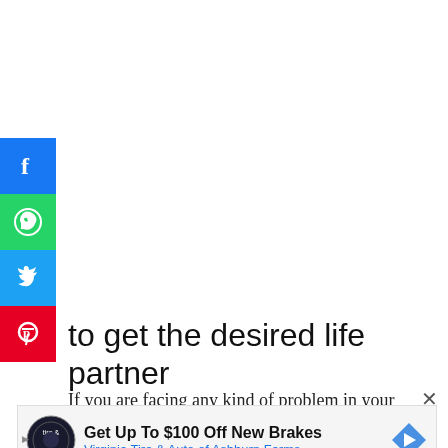[Figure (infographic): Social media sharing buttons: Facebook (blue), WhatsApp (green), Twitter (blue), Pinterest (red), arranged vertically on the left side]
to get the desired life partner
If you are facing any kind of problem in your
[Figure (infographic): Advertisement banner: Get Up To $100 Off New Brakes - Virginia Tire & Auto of Ashburn Farms, with tire & auto logo and navigation arrow icon]